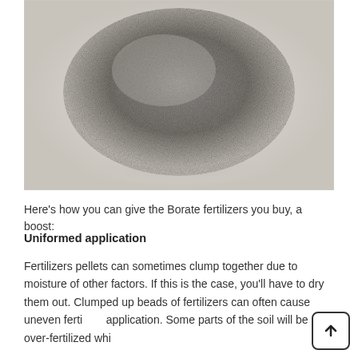[Figure (photo): Close-up photograph of a pale grey granular/powdery substance (Borate fertilizer) piled in a mound on a light grey background]
Here's how you can give the Borate fertilizers you buy, a boost:
Uniformed application
Fertilizers pellets can sometimes clump together due to moisture of other factors. If this is the case, you'll have to dry them out. Clumped up beads of fertilizers can often cause uneven fertil application. Some parts of the soil will be over-fertilized whi